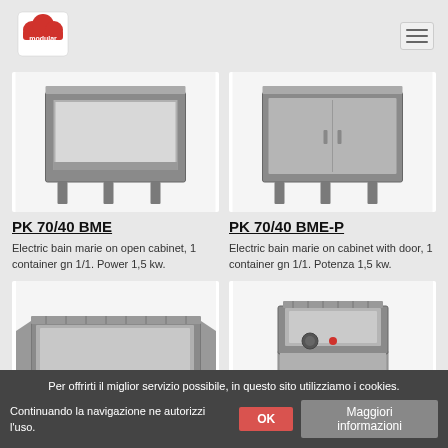[Figure (logo): Modular brand logo - red cloud/chef hat shape with 'modular' text]
[Figure (photo): Stainless steel open cabinet base unit with legs]
[Figure (photo): Stainless steel cabinet base unit with door and legs]
PK 70/40 BME
PK 70/40 BME-P
Electric bain marie on open cabinet, 1 container gn 1/1. Power 1,5 kw.
Electric bain marie on cabinet with door, 1 container gn 1/1. Potenza 1,5 kw.
[Figure (photo): Stainless steel bain marie countertop unit with dial control]
[Figure (photo): Stainless steel bain marie on pedestal with cabinet and dial control]
Per offrirti il miglior servizio possibile, in questo sito utilizziamo i cookies. Continuando la navigazione ne autorizzi l'uso.